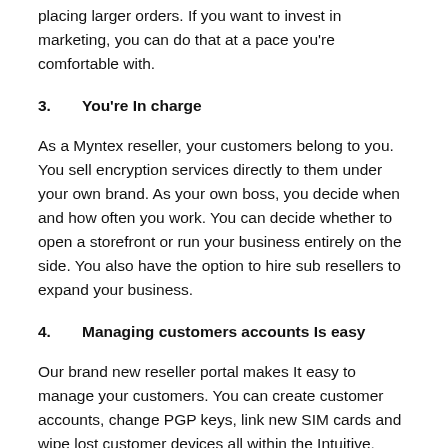placing larger orders. If you want to invest in marketing, you can do that at a pace you're comfortable with.
3.      You're In charge
As a Myntex reseller, your customers belong to you. You sell encryption services directly to them under your own brand. As your own boss, you decide when and how often you work. You can decide whether to open a storefront or run your business entirely on the side. You also have the option to hire sub resellers to expand your business.
4.      Managing customers accounts Is easy
Our brand new reseller portal makes It easy to manage your customers. You can create customer accounts, change PGP keys, link new SIM cards and wipe lost customer devices all within the Intuitive, secure online portal. The portal also enables proactive customer management by